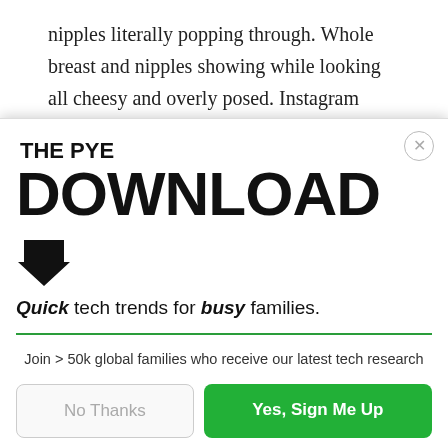nipples literally popping through. Whole breast and nipples showing while looking all cheesy and overly posed. Instagram determined that was not nudity.
[Figure (infographic): Modal popup overlay titled 'THE PYE DOWNLOAD' with tagline 'Quick tech trends for busy families.' and a green separator line, body text 'Join > 50k global families who receive our latest tech research', and two buttons: 'No Thanks' and 'Yes, Sign Me Up']